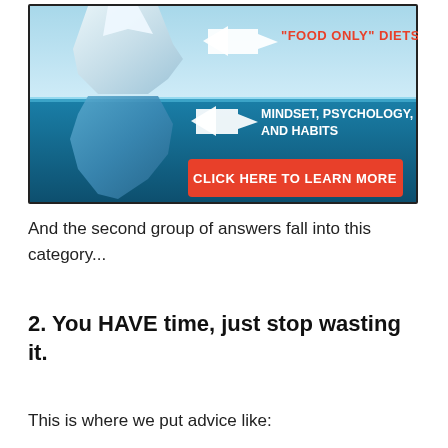[Figure (infographic): Iceberg infographic showing 'FOOD ONLY' DIETS above waterline with arrow, and MINDSET, PSYCHOLOGY, AND HABITS below waterline with arrow, and a red button saying CLICK HERE TO LEARN MORE]
And the second group of answers fall into this category...
2. You HAVE time, just stop wasting it.
This is where we put advice like: